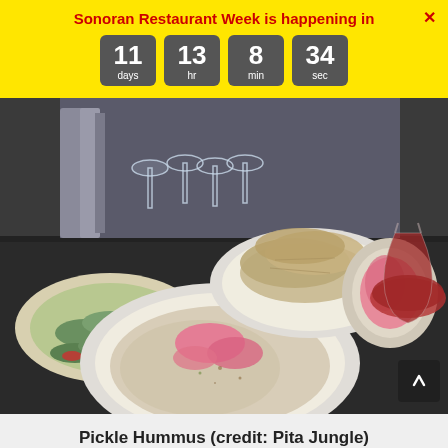Sonoran Restaurant Week is happening in
11 days  13 hr  8 min  34 sec
[Figure (photo): Restaurant table scene with a plate of hummus topped with pickled vegetables, pita chips, wine bottles labeled Jungle Vino, glasses of red wine, and pickles in the background]
Pickle Hummus (credit: Pita Jungle)